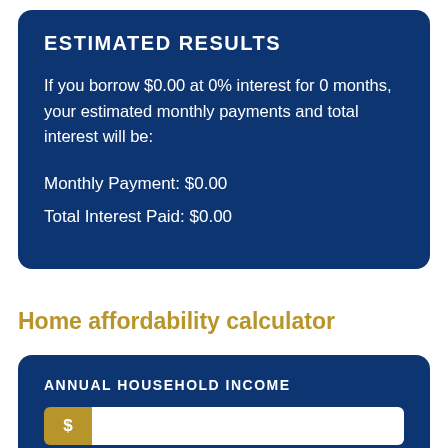ESTIMATED RESULTS
If you borrow $0.00 at 0% interest for 0 months, your estimated monthly payments and total interest will be:
Monthly Payment: $0.00
Total Interest Paid: $0.00
Home affordability calculator
ANNUAL HOUSEHOLD INCOME